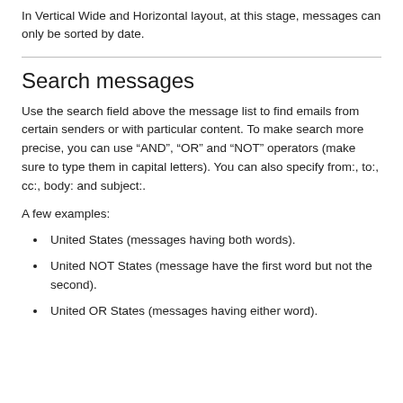In Vertical Wide and Horizontal layout, at this stage, messages can only be sorted by date.
Search messages
Use the search field above the message list to find emails from certain senders or with particular content. To make search more precise, you can use “AND”, “OR” and “NOT” operators (make sure to type them in capital letters). You can also specify from:, to:, cc:, body: and subject:.
A few examples:
United States (messages having both words).
United NOT States (message have the first word but not the second).
United OR States (messages having either word).